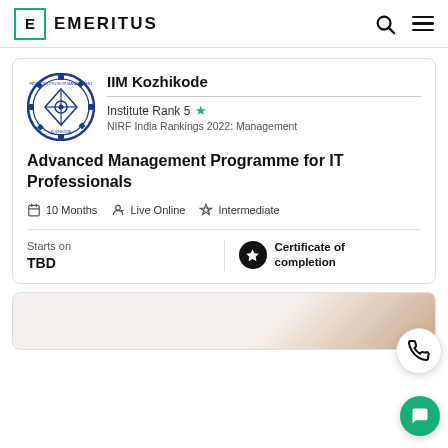EMERITUS
[Figure (logo): IIM Kozhikode circular seal logo with gear border and emblem]
IIM Kozhikode
Institute Rank 5 ★
NIRF India Rankings 2022: Management
Advanced Management Programme for IT Professionals
🗓 10 Months   👤 Live Online   🛡 Intermediate
Starts on
TBD
Certificate of completion